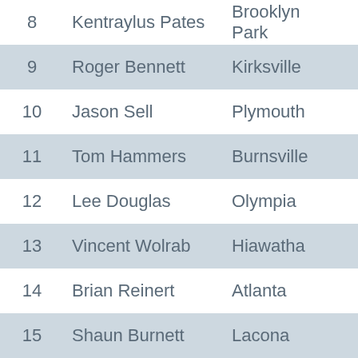| # | Name | City | State |
| --- | --- | --- | --- |
| 8 | Kentraylus Pates | Brooklyn Park | MN |
| 9 | Roger Bennett | Kirksville | MO |
| 10 | Jason Sell | Plymouth | MN |
| 11 | Tom Hammers | Burnsville | MN |
| 12 | Lee Douglas | Olympia | WA |
| 13 | Vincent Wolrab | Hiawatha | IA |
| 14 | Brian Reinert | Atlanta | GA |
| 15 | Shaun Burnett | Lacona | IA |